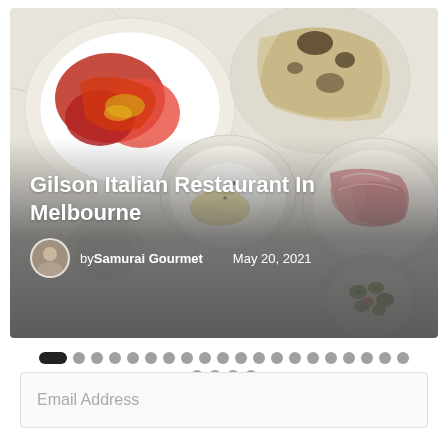[Figure (photo): Overhead shot of Italian antipasti dishes on a marble surface: plates with prosciutto, burrata with olive oil, flatbread, and olives]
Gilson Italian Restaurant In Melbourne
by Samurai Gourmet   May 20, 2021
Email Address